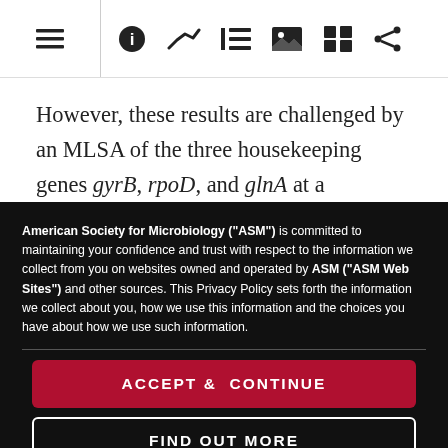[Toolbar with navigation icons: menu, info, chart, list, image, grid, share]
However, these results are challenged by an MLSA of the three housekeeping genes gyrB, rpoD, and glnA at a
American Society for Microbiology ("ASM") is committed to maintaining your confidence and trust with respect to the information we collect from you on websites owned and operated by ASM ("ASM Web Sites") and other sources. This Privacy Policy sets forth the information we collect about you, how we use this information and the choices you have about how we use such information.
ACCEPT & CONTINUE
FIND OUT MORE